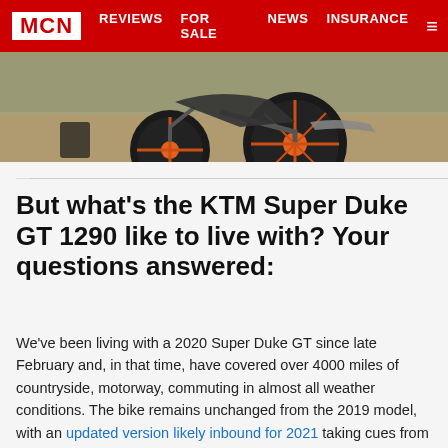MCN | REVIEWS | FOR SALE | NEWS | INSURANCE
[Figure (photo): Partial rear view of a KTM Super Duke GT 1290 motorcycle with orange wheels on a road]
But what's the KTM Super Duke GT 1290 like to live with? Your questions answered:
We've been living with a 2020 Super Duke GT since late February and, in that time, have covered over 4000 miles of countryside, motorway, commuting in almost all weather conditions. The bike remains unchanged from the 2019 model, with an updated version likely inbound for 2021 taking cues from the latest KTM 1290 Super Duke R.